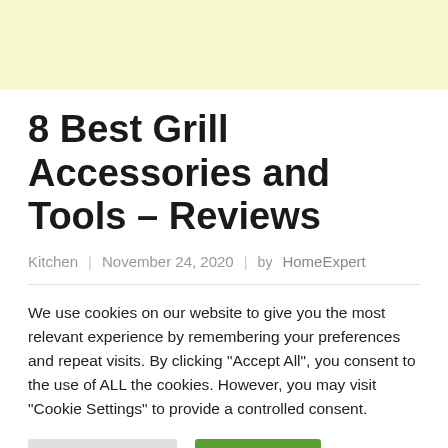[Figure (other): Yellow/cream colored banner advertisement area at top of page]
8 Best Grill Accessories and Tools – Reviews
Kitchen  |  November 24, 2020  |  by HomeExpert
We use cookies on our website to give you the most relevant experience by remembering your preferences and repeat visits. By clicking "Accept All", you consent to the use of ALL the cookies. However, you may visit "Cookie Settings" to provide a controlled consent.
Cookie Settings  |  Accept All